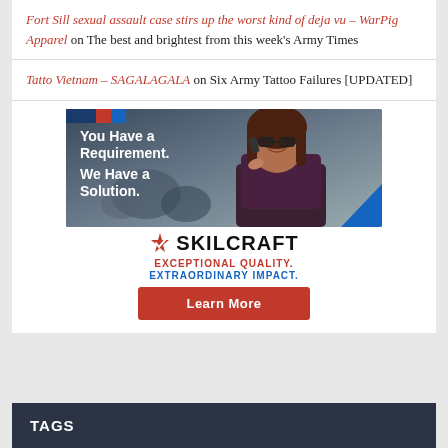Fort Sill sexual assault case stirs up the worst kind of deja vu – WarPig Apparel on The best and brightest from this week's Army Times
Tatto Vietnam – SAGALAGALA on Six Army Tattoo Failures [UPDATED]
[Figure (infographic): SKILCRAFT advertisement. Top portion shows a woman with glasses on a phone against an office background, with the text 'You Have a Requirement. We Have a Solution.' Below: SKILCRAFT logo with checkmark, taglines 'EXCEPTIONAL QUALITY. EXTRAORDINARY IMPACT.' and a red 'Learn More' button.]
TAGS